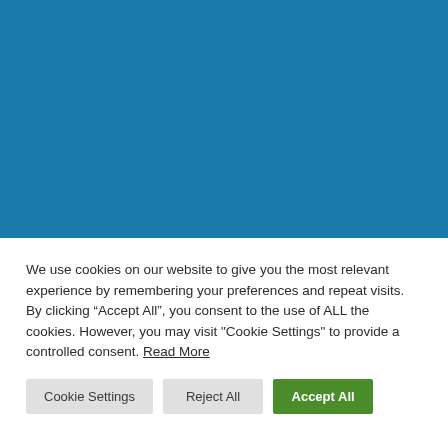[Figure (other): Solid teal/blue background panel occupying the top portion of the page]
We use cookies on our website to give you the most relevant experience by remembering your preferences and repeat visits. By clicking “Accept All”, you consent to the use of ALL the cookies. However, you may visit "Cookie Settings" to provide a controlled consent. Read More
Cookie Settings
Reject All
Accept All